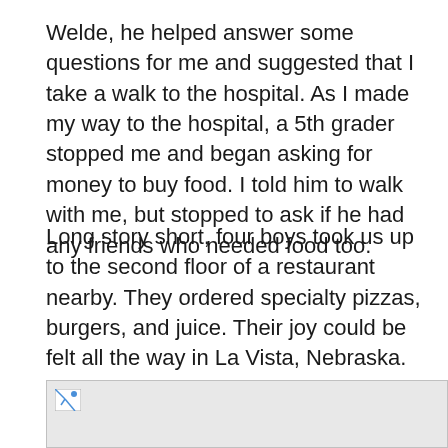Welde, he helped answer some questions for me and suggested that I take a walk to the hospital. As I made my way to the hospital, a 5th grader stopped me and began asking for money to buy food. I told him to walk with me, but stopped to ask if he had any friends who needed food too.
Long story short, four boys took us up to the second floor of a restaurant nearby. They ordered specialty pizzas, burgers, and juice. Their joy could be felt all the way in La Vista, Nebraska. Unbelievable! The manager of the restaurant expressed his gratitude along with the staff, family, and friends in the neighborhood.
[Figure (photo): Partially loaded image placeholder with broken image icon in top-left corner, gray background]